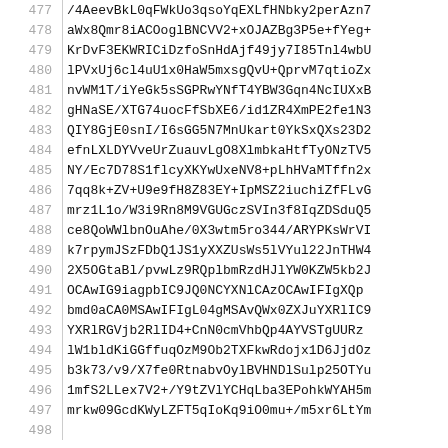| line | content |
| --- | --- |
| 477 | /4AeevBkL0qFWkUo3qsoYqEXLfHNbky2perAzn7 |
| 478 | aWx8Qmr8iACOoglBNCVV2+xOJAZBg3P5e+fYeg+ |
| 479 | KrDvF3EKWRICiDzfoSnHdAjf49jy7I85Tnl4wbU |
| 480 | lPVxUj6cl4uU1x0HaW5mxsgQvU+QprvM7qtioZx |
| 481 | nvWM1T/iYeGk5sSGPRwYNfT4YBW3Gqn4NcIUXxB |
| 482 | gHNaSE/XTG74uocFfSbXE6/id1ZR4XmPE2fe1N3 |
| 483 | QIY8GjE0snI/I6sGG5N7MnUkart0YkSxQXs23D2 |
| 484 | efnLXLDYVveUrZuauvLgO8XlmbkaHtfTyONzTV5 |
| 485 | NY/Ec7D78S1flcyXKYwUxeNV8+pLhHVaMTffn2x |
| 486 | 7qq8k+ZV+U9e9fH8Z83EY+IpMSZ2iuchiZfFLvG |
| 487 | mrz1L1o/W3i9Rn8M9VGUGczSVIn3f8IqZDSduQ5 |
| 488 | ce8QoWWlbnOuAhe/0X3wtm5ro344/ARYPKsWrVI |
| 489 | k7rpymJSzFDbQ1JS1yXXZUsWs5lVYul22JnTHW4 |
| 490 | 2X5OGtaBl/pvwLz9RQplbmRzdHJlYW0KZW5kb2J |
| 491 | OCAwIG9iagpbIC9JQ0NCYXNlCAzOCAwIFIgXQp |
| 492 | bmd0aCA0MSAwIFIgL04gMSAvQWx0ZXJuYXRlIC9 |
| 493 | YXRlRGVjb2RlID4+CnN0cmVhbQp4AYVSTgUURz |
| 494 | lW1bldKiGGffuqOzM9Ob2TXFkwRdojx1D6JjdOz |
| 495 | b3k73/v9/X7fe0RtnabvOylBVHNDlSulp25OTYu |
| 496 | 1mfS2LLex7V2+/Y9tZVlYCHqLba3EPohkWYAH5m |
| 497 | mrkw09GcdKWyLZFT5qIoKq9iO0mu+/m5xr6LtYm |
| 498 |  |